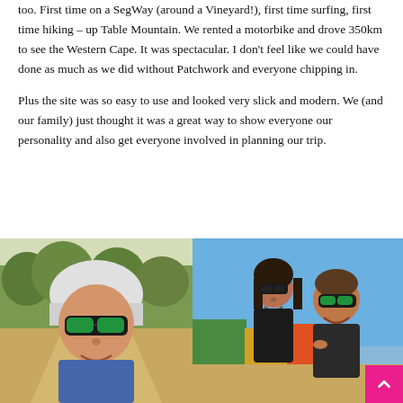too. First time on a SegWay (around a Vineyard!), first time surfing, first time hiking – up Table Mountain. We rented a motorbike and drove 350km to see the Western Cape. It was spectacular. I don't feel like we could have done as much as we did without Patchwork and everyone chipping in.
Plus the site was so easy to use and looked very slick and modern. We (and our family) just thought it was a great way to show everyone our personality and also get everyone involved in planning our trip.
[Figure (photo): Selfie of a person wearing a cycling helmet and green reflective sunglasses on a dirt path, with trees and another cyclist visible in the background]
[Figure (photo): Two people wearing sunglasses smiling outdoors with colorful beach huts and blue sky in the background]